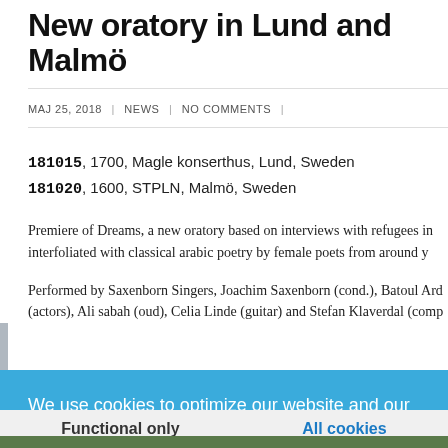New oratory in Lund and Malmö
MAJ 25, 2018 | NEWS | NO COMMENTS |
181015, 1700, Magle konserthus, Lund, Sweden
181020, 1600, STPLN, Malmö, Sweden
Premiere of Dreams, a new oratory based on interviews with refugees interfoliated with classical arabic poetry by female poets from around y…
Performed by Saxenborn Singers, Joachim Saxenborn (cond.), Batoul Ard… (actors), Ali sabah (oud), Celia Linde (guitar) and Stefan Klaverdal (comp…
We use cookies to optimize our website and our service.  Read more
Functional only
All cookies